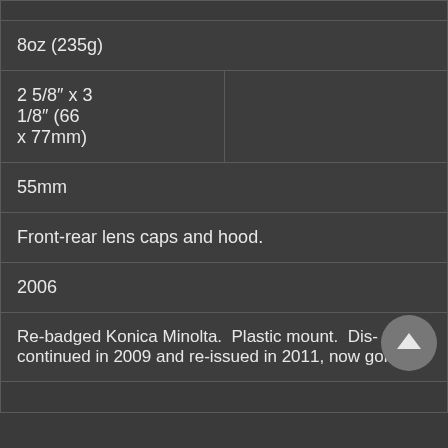| 8oz (235g) |  |
| 2 5/8" x 3 1/8" (66 x 77mm) |  |
| 55mm |  |
| Front-rear lens caps and hood. |  |
| 2006 |  |
| Re-badged Konica Minolta.  Plastic mount.  Discontinued in 2009 and re-issued in 2011, now gone. |  |